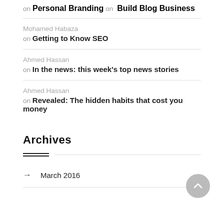on Personal Branding on Build Blog Business
Mohamed Habaza on Getting to Know SEO
Ahmed Hassan on In the news: this week's top news stories
Ahmed Hassan on Revealed: The hidden habits that cost you money
Archives
→ March 2016